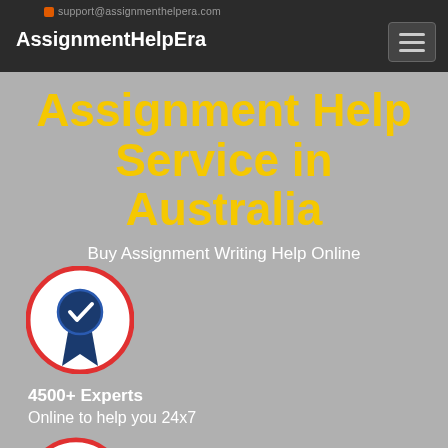support@assignmenthelpera.com
AssignmentHelpEra
Assignment Help Service in Australia
Buy Assignment Writing Help Online
[Figure (illustration): Blue award/medal ribbon badge icon inside a red-bordered white circle]
4500+ Experts
Online to help you 24x7
[Figure (illustration): Dollar sign receipt/invoice icon inside a red-bordered white circle, partially visible at bottom]